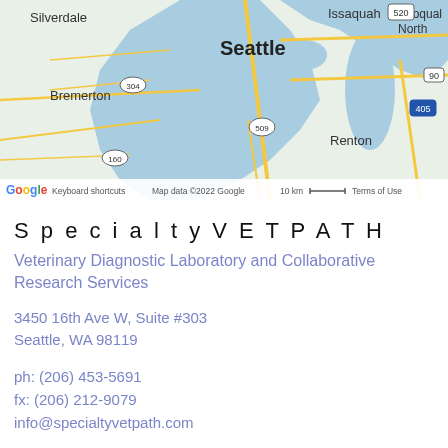[Figure (map): Google Maps satellite/road view showing the Seattle, WA area including Silverdale, Bremerton, Issaquah, Snoqualmie, Renton, and surrounding regions. Map includes highway markers (520, 90, 405, 509, 304, 160), water bodies (Puget Sound), and the Google logo with attribution text: Keyboard shortcuts, Map data ©2022 Google, 10 km scale bar, Terms of Use.]
SpecialtyVETPATH
Veterinary Diagnostic Laboratory and Collaborative Research Services
3450 16th Ave W, Suite #303
Seattle, WA 98119
ph: (206) 453-5691
fx: (206) 212-9079
info@specialtyvetpath.com